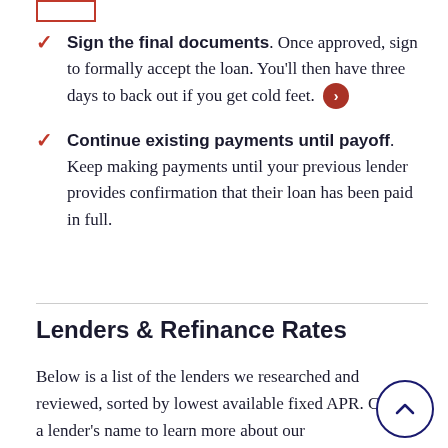[Figure (other): Small red rectangle outline at top left corner]
Sign the final documents. Once approved, sign to formally accept the loan. You'll then have three days to back out if you get cold feet.
Continue existing payments until payoff. Keep making payments until your previous lender provides confirmation that their loan has been paid in full.
Lenders & Refinance Rates
Below is a list of the lenders we researched and reviewed, sorted by lowest available fixed APR. Click on a lender's name to learn more about our